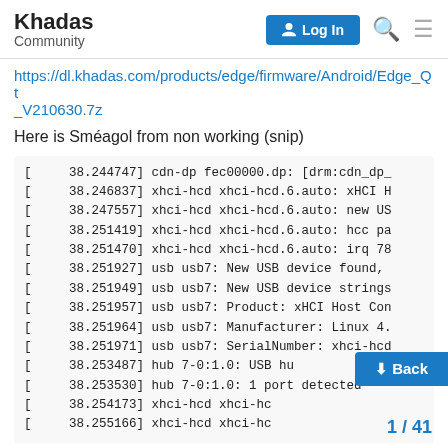Khadas Community — Log In
https://dl.khadas.com/products/edge/firmware/Android/Edge_Qt_V210630.7z
Here is Sméagol from non working (snip)
[    38.244747] cdn-dp fec00000.dp: [drm:cdn_dp_
[    38.246837] xhci-hcd xhci-hcd.6.auto: xHCI H
[    38.247557] xhci-hcd xhci-hcd.6.auto: new US
[    38.251419] xhci-hcd xhci-hcd.6.auto: hcc pa
[    38.251470] xhci-hcd xhci-hcd.6.auto: irq 78
[    38.251927] usb usb7: New USB device found,
[    38.251949] usb usb7: New USB device strings
[    38.251957] usb usb7: Product: xHCI Host Con
[    38.251964] usb usb7: Manufacturer: Linux 4.
[    38.251971] usb usb7: SerialNumber: xhci-hcd
[    38.253487] hub 7-0:1.0: USB hu
[    38.253530] hub 7-0:1.0: 1 port detected
[    38.254173] xhci-hcd xhci-hc
[    38.255166] xhci-hcd xhci-hc